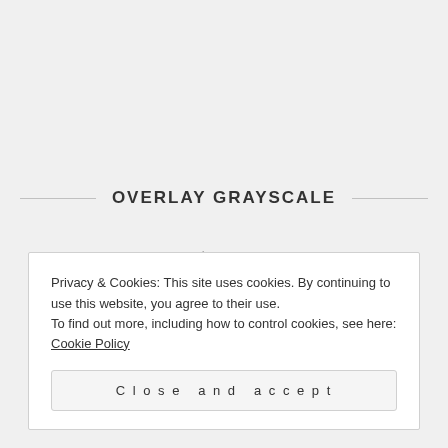OVERLAY GRAYSCALE
October 22, 2016
WordPress is an award-winning web software, used by
Privacy & Cookies: This site uses cookies. By continuing to use this website, you agree to their use.
To find out more, including how to control cookies, see here: Cookie Policy
Close and accept